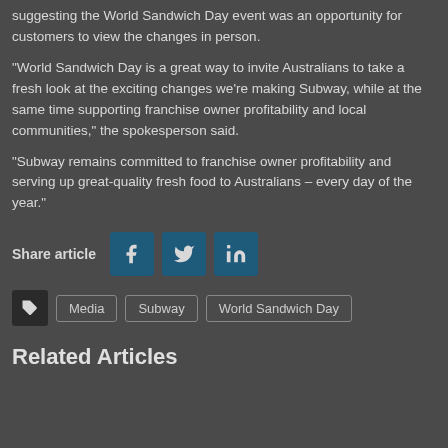suggesting the World Sandwich Day event was an opportunity for customers to view the changes in person.
"World Sandwich Day is a great way to invite Australians to take a fresh look at the exciting changes we're making Subway, while at the same time supporting franchise owner profitability and local communities," the spokesperson said.
"Subway remains committed to franchise owner profitability and serving up great-quality fresh food to Australians – every day of the year."
Share article [Facebook] [Twitter] [LinkedIn]
Media   Subway   World Sandwich Day
Related Articles